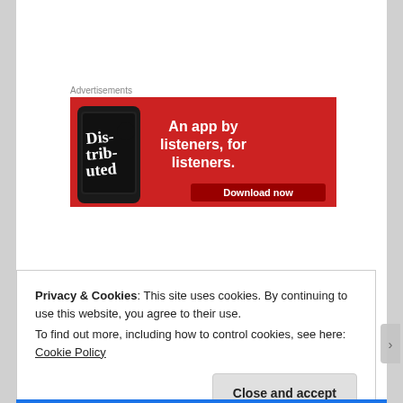Advertisements
[Figure (illustration): Advertisement banner with red background showing a smartphone with 'Distributed' podcast app, text reading 'An app by listeners, for listeners.' and a 'Download now' button]
Privacy & Cookies: This site uses cookies. By continuing to use this website, you agree to their use.
To find out more, including how to control cookies, see here: Cookie Policy
Close and accept